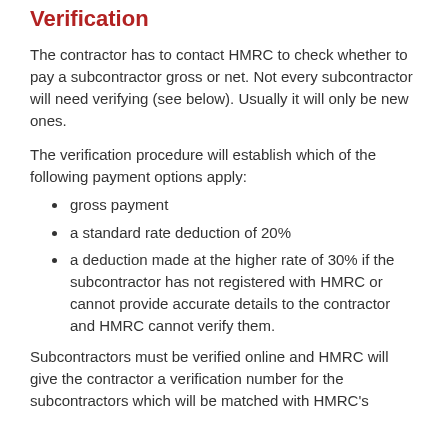Verification
The contractor has to contact HMRC to check whether to pay a subcontractor gross or net. Not every subcontractor will need verifying (see below). Usually it will only be new ones.
The verification procedure will establish which of the following payment options apply:
gross payment
a standard rate deduction of 20%
a deduction made at the higher rate of 30% if the subcontractor has not registered with HMRC or cannot provide accurate details to the contractor and HMRC cannot verify them.
Subcontractors must be verified online and HMRC will give the contractor a verification number for the subcontractors which will be matched with HMRC's